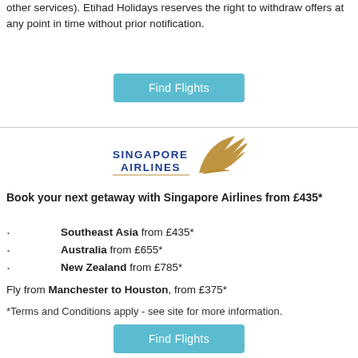other services). Etihad Holidays reserves the right to withdraw offers at any point in time without prior notification.
[Figure (other): Find Flights button (teal/blue rounded rectangle)]
[Figure (logo): Singapore Airlines logo with golden bird wing and blue text]
Book your next getaway with Singapore Airlines from £435*
Southeast Asia from £435*
Australia from £655*
New Zealand from £785*
Fly from Manchester to Houston, from £375*
*Terms and Conditions apply - see site for more information.
[Figure (other): Find Flights button (teal/blue rounded rectangle)]